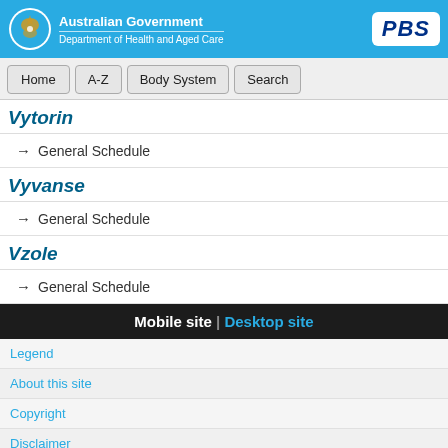Australian Government | Department of Health and Aged Care | PBS
Vytorin
→ General Schedule
Vyvanse
→ General Schedule
Vzole
→ General Schedule
Mobile site | Desktop site
Legend
About this site
Copyright
Disclaimer
Privacy policy
Contact us
Other languages
© Commonwealth of Australia